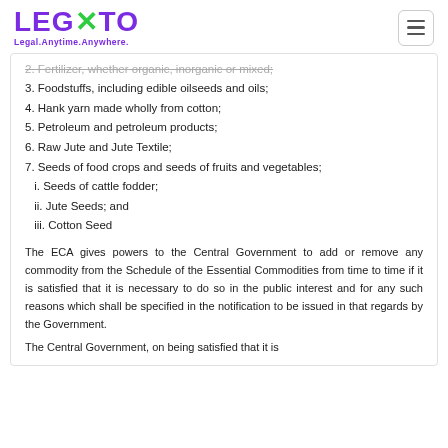LEGATO — Legal.Anytime.Anywhere.
2. Fertilizer, whether organic, inorganic or mixed;
3. Foodstuffs, including edible oilseeds and oils;
4. Hank yarn made wholly from cotton;
5. Petroleum and petroleum products;
6. Raw Jute and Jute Textile;
7. Seeds of food crops and seeds of fruits and vegetables;
i. Seeds of cattle fodder;
ii. Jute Seeds; and
iii. Cotton Seed
The ECA gives powers to the Central Government to add or remove any commodity from the Schedule of the Essential Commodities from time to time if it is satisfied that it is necessary to do so in the public interest and for any such reasons which shall be specified in the notification to be issued in that regards by the Government.
The Central Government, on being satisfied that it is